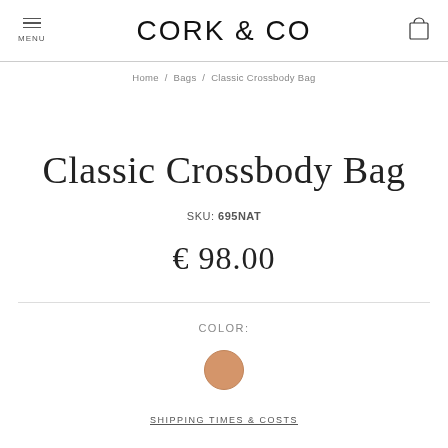MENU  CORK & CO  [cart icon]
Home / Bags / Classic Crossbody Bag
Classic Crossbody Bag
SKU: 695NAT
€ 98.00
COLOR:
[Figure (illustration): A tan/natural cork color swatch circle]
SHIPPING TIMES & COSTS